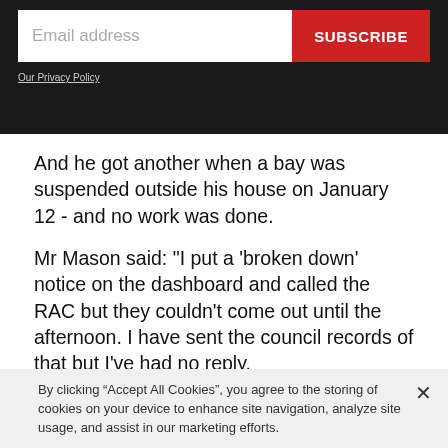[Figure (screenshot): Email subscription form with text input field labeled 'Email address' and a red 'SUBSCRIBE' button on a dark background, with 'Our Privacy Policy' link below]
And he got another when a bay was suspended outside his house on January 12 - and no work was done.
Mr Mason said: "I put a 'broken down' notice on the dashboard and called the RAC but they couldn't come out until the afternoon. I have sent the council records of that but I've had no reply.
"It...
By clicking “Accept All Cookies”, you agree to the storing of cookies on your device to enhance site navigation, analyze site usage, and assist in our marketing efforts.